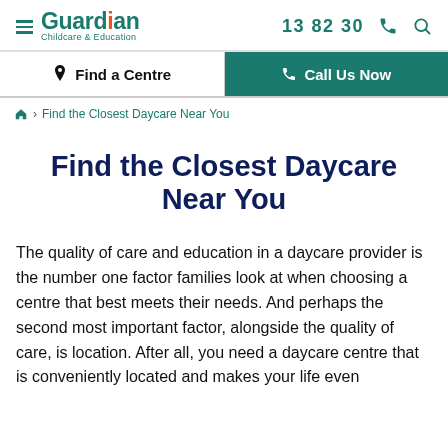Guardian Childcare & Education | 13 82 30
Find a Centre | Call Us Now
Home > Find the Closest Daycare Near You
Find the Closest Daycare Near You
The quality of care and education in a daycare provider is the number one factor families look at when choosing a centre that best meets their needs. And perhaps the second most important factor, alongside the quality of care, is location. After all, you need a daycare centre that is conveniently located and makes your life even